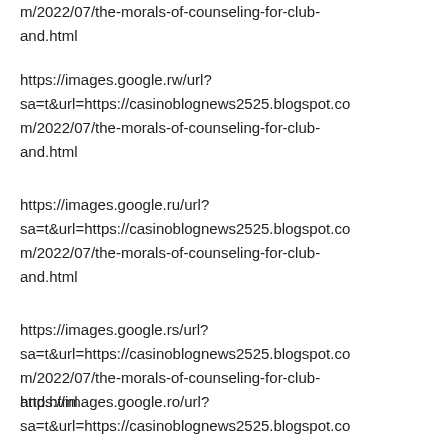m/2022/07/the-morals-of-counseling-for-club-and.html
https://images.google.rw/url?sa=t&url=https://casinoblognews2525.blogspot.com/2022/07/the-morals-of-counseling-for-club-and.html
https://images.google.ru/url?sa=t&url=https://casinoblognews2525.blogspot.com/2022/07/the-morals-of-counseling-for-club-and.html
https://images.google.rs/url?sa=t&url=https://casinoblognews2525.blogspot.com/2022/07/the-morals-of-counseling-for-club-and.html
https://images.google.ro/url?sa=t&url=https://casinoblognews2525.blogspot.com/2022/07/the-morals-of-counseling-for-club-and.html